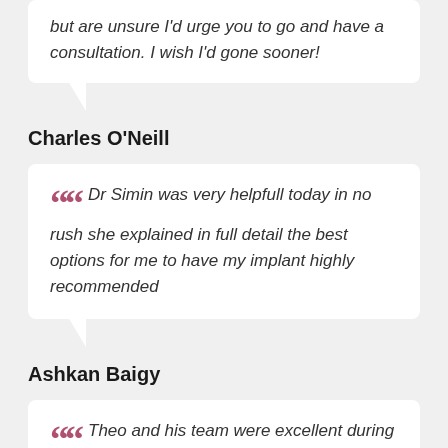but are unsure I'd urge you to go and have a consultation. I wish I'd gone sooner!
Charles O'Neill
Dr Simin was very helpfull today in no rush she explained in full detail the best options for me to have my implant highly recommended
Ashkan Baigy
Theo and his team were excellent during